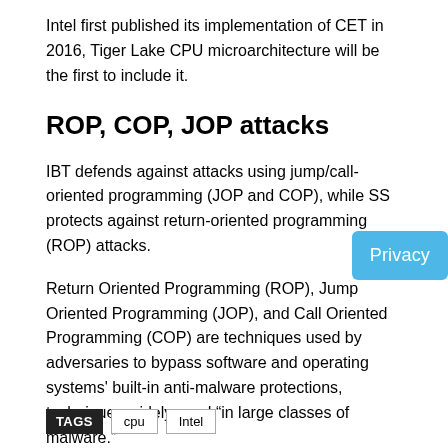Intel first published its implementation of CET in 2016, Tiger Lake CPU microarchitecture will be the first to include it.
ROP, COP, JOP attacks
IBT defends against attacks using jump/call-oriented programming (JOP and COP), while SS protects against return-oriented programming (ROP) attacks.
Return Oriented Programming (ROP), Jump Oriented Programming (JOP), and Call Oriented Programming (COP) are techniques used by adversaries to bypass software and operating systems' built-in anti-malware protections, techniques widely used “in large classes of malware.”
TAGS  cpu  Intel